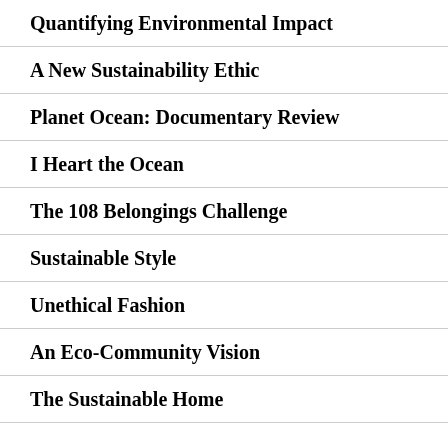Quantifying Environmental Impact
A New Sustainability Ethic
Planet Ocean: Documentary Review
I Heart the Ocean
The 108 Belongings Challenge
Sustainable Style
Unethical Fashion
An Eco-Community Vision
The Sustainable Home